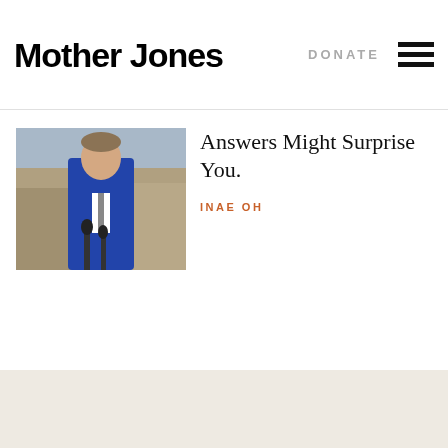Mother Jones | DONATE
[Figure (photo): A man in a blue suit speaking at a podium with microphones, outdoors]
Answers Might Surprise You.
INAE OH